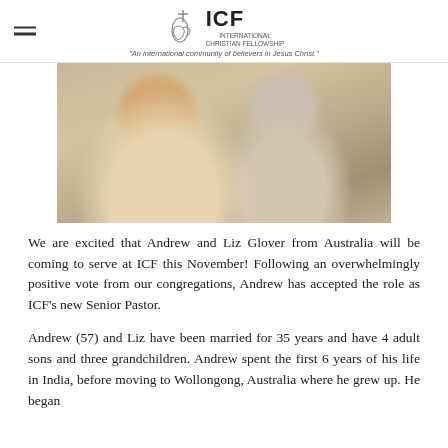ICF — An international community of believers in Jesus Christ.
[Figure (photo): Photo of Andrew and Liz Glover, a smiling couple, against a light background.]
We are excited that Andrew and Liz Glover from Australia will be coming to serve at ICF this November! Following an overwhelmingly positive vote from our congregations, Andrew has accepted the role as ICF's new Senior Pastor.
Andrew (57) and Liz have been married for 35 years and have 4 adult sons and three grandchildren. Andrew spent the first 6 years of his life in India, before moving to Wollongong, Australia where he grew up. He began